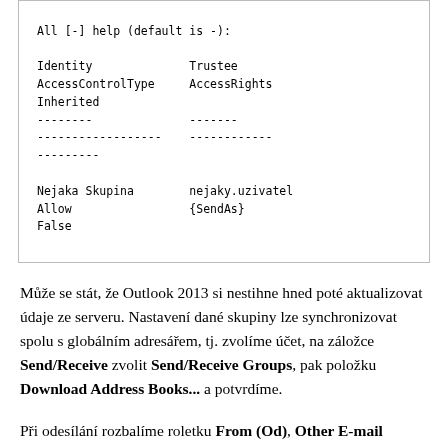| Identity | Trustee | AccessControlType | AccessRights | Inherited |  |  |
| --- | --- | --- | --- | --- | --- | --- |
| -------- | ------- |
| ------------------ | ------------ |
| --------- |  |
| Nejaka Skupina | nejaky.uzivatel |
| Allow | {SendAs} |
| False |  |
Může se stát, že Outlook 2013 si nestihne hned poté aktualizovat údaje ze serveru. Nastavení dané skupiny lze synchronizovat spolu s globálním adresářem, tj. zvolíme účet, na záložce Send/Receive zvolit Send/Receive Groups, pak položku Download Address Books... a potvrdíme.
Při odesílání rozbalíme roletku From (Od), Other E-mail Address..., From... a najdeme příslušnou